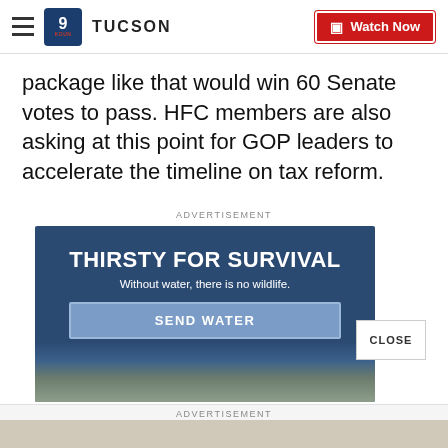9 TUCSON | Watch Now
package like that would win 60 Senate votes to pass. HFC members are also asking at this point for GOP leaders to accelerate the timeline on tax reform.
ADVERTISEMENT
[Figure (infographic): Advertisement banner for wildlife water conservation. Dark blue background with text 'THIRSTY FOR SURVIVAL', 'Without water, there is no wildlife.' and a 'SEND WATER' call-to-action button. Bottom portion shows a wildlife photo.]
CLOSE
ADVERTISEMENT